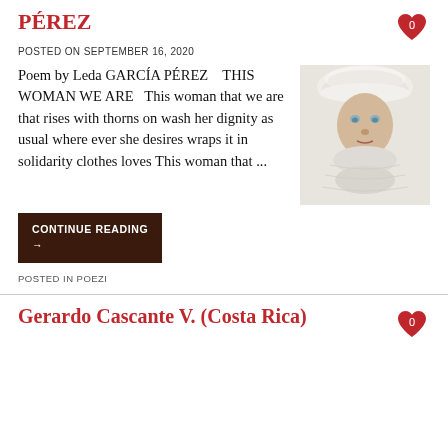PÉREZ
POSTED ON SEPTEMBER 16, 2020
Poem by Leda GARCÍA PÉREZ    THIS WOMAN WE ARE   This woman that we are that rises with thorns on wash her dignity as usual where ever she desires wraps it in solidarity clothes loves This woman that ...
[Figure (photo): Portrait of an elderly woman wearing a white fur hat and white winter coat, looking directly at the camera.]
CONTINUE READING →
POSTED IN POEZI
Gerardo Cascante V. (Costa Rica)